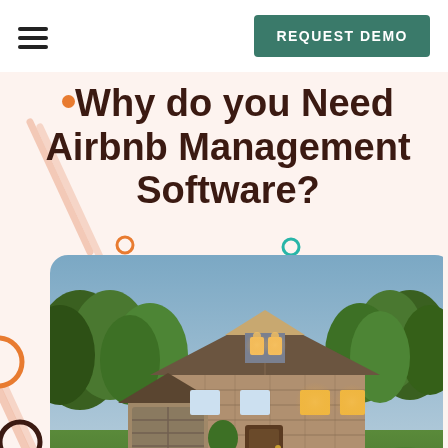REQUEST DEMO
Why do you Need Airbnb Management Software?
[Figure (photo): Exterior photo of a large stone house at dusk with green trees, green lawn, stone driveway, and warm lights in the windows.]